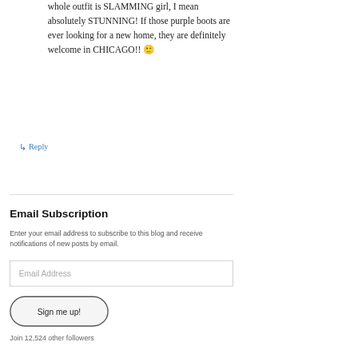whole outfit is SLAMMING girl, I mean absolutely STUNNING! If those purple boots are ever looking for a new home, they are definitely welcome in CHICAGO!! 🙂
↳ Reply
Email Subscription
Enter your email address to subscribe to this blog and receive notifications of new posts by email.
Email Address
Sign me up!
Join 12,524 other followers